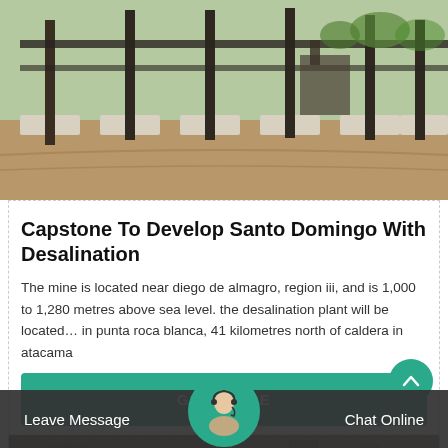[Figure (photo): Construction site with steel columns/pillars on concrete foundations, dirt ground, outdoor setting]
Capstone To Develop Santo Domingo With Desalination
The mine is located near diego de almagro, region iii, and is 1,000 to 1,280 metres above sea level. the desalination plant will be located… in punta roca blanca, 41 kilometres north of caldera in atacama
[Figure (photo): Partial view of industrial equipment at bottom of page]
Leave Message  Chat Online